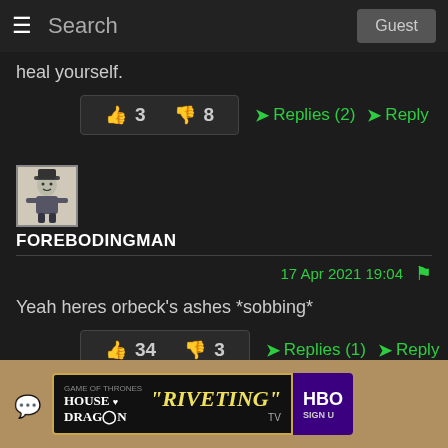Search | Guest
heal yourself.
👍 3   👎 8   ➤Replies (2)   ➤Reply
[Figure (illustration): Avatar image of user FOREBODINGMAN showing a cartoon/illustration figure]
FOREBODINGMAN
17 Apr 2021 19:04
Yeah heres orbeck's ashes *sobbing*
👍 34   👎 3   ➤Replies (1)   ➤Reply
[Figure (infographic): Advertisement banner: House of the Dragon - RIVETING TV - HBO]